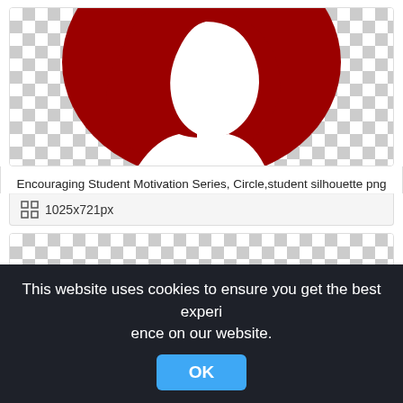[Figure (illustration): Card showing a red circle with a white student silhouette on a checkerboard transparent background]
Encouraging Student Motivation Series, Circle,student silhouette png
1025x721px
[Figure (illustration): Second card partially visible showing a checkerboard transparent background with a faint silhouette]
This website uses cookies to ensure you get the best experience on our website.
OK